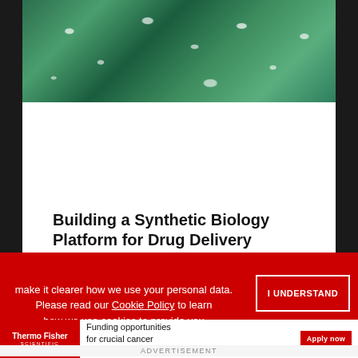[Figure (photo): Close-up image of green plant cells or leaves with white specks/dots pattern, viewed from above]
Building a Synthetic Biology Platform for Drug Delivery
Webinars
[Figure (logo): Research+ Resources logo with a red circle plus sign]
[Figure (photo): Photo of green grass field]
make it clearer how we use your personal data.
Please read our Cookie Policy to learn how we use cookies to provide you
I UNDERSTAND
[Figure (logo): ThermoFisher Scientific logo in red and white]
Funding opportunities for crucial cancer research
Apply now
ADVERTISEMENT